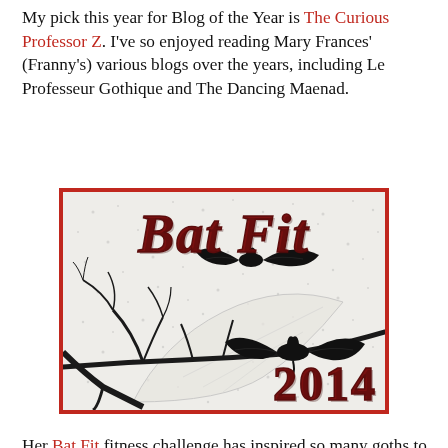My pick this year for Blog of the Year is The Curious Professor Z. I've so enjoyed reading Mary Frances' (Franny's) various blogs over the years, including Le Professeur Gothique and The Dancing Maenad.
[Figure (illustration): Bat Fit 2014 logo image with dark red gothic text reading 'Bat Fit' at top, two black bat silhouettes, bare tree branches, and decorative leaf on a speckled white background. '2014' in dark red at bottom right. Red border frame.]
Her Bat Fit fitness challenge has inspired so many goths to get fitter and more healthy. I see her Bat Fit banner everywhere I look when I'm out exploring the dark corners of